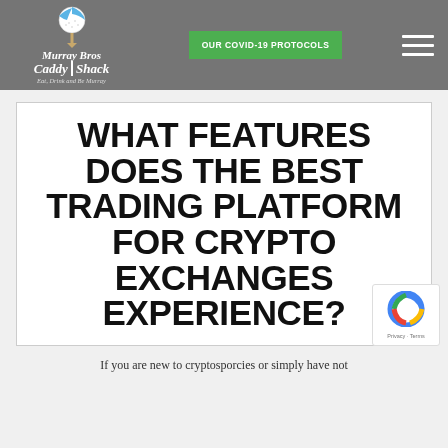[Figure (logo): Murray Bros Caddy Shack logo with golf ball icon and tagline 'Eat, Drink and Be Murray']
OUR COVID-19 PROTOCOLS
WHAT FEATURES DOES THE BEST TRADING PLATFORM FOR CRYPTO EXCHANGES EXPERIENCE?
If you are new to cryptosporcies or simply have not traded on a crypto exchange before, finding the